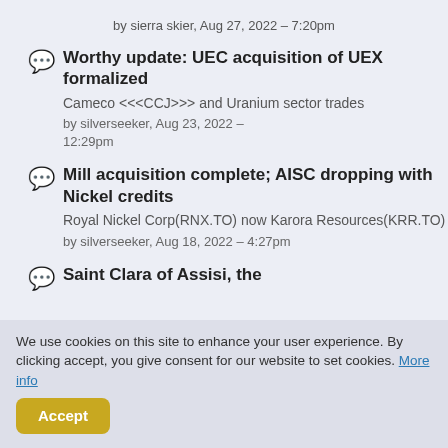by sierra skier, Aug 27, 2022 – 7:20pm
Worthy update: UEC acquisition of UEX formalized
Cameco <<<CCJ>>> and Uranium sector trades
by silverseeker, Aug 23, 2022 – 12:29pm
Mill acquisition complete; AISC dropping with Nickel credits
Royal Nickel Corp(RNX.TO) now Karora Resources(KRR.TO)
by silverseeker, Aug 18, 2022 – 4:27pm
Saint Clara of Assisi, the
We use cookies on this site to enhance your user experience. By clicking accept, you give consent for our website to set cookies. More info